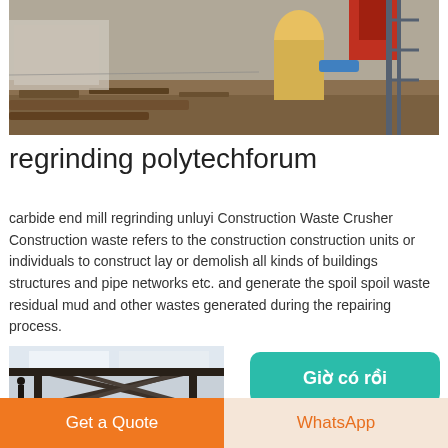[Figure (photo): Construction site with machinery, steel beams, and industrial equipment outdoors]
regrinding polytechforum
carbide end mill regrinding unluyi Construction Waste Crusher Construction waste refers to the construction construction units or individuals to construct lay or demolish all kinds of buildings structures and pipe networks etc. and generate the spoil spoil waste residual mud and other wastes generated during the repairing process.
[Figure (photo): Industrial factory interior with large metal framework structure and overhead equipment]
Get a Quote   WhatsApp